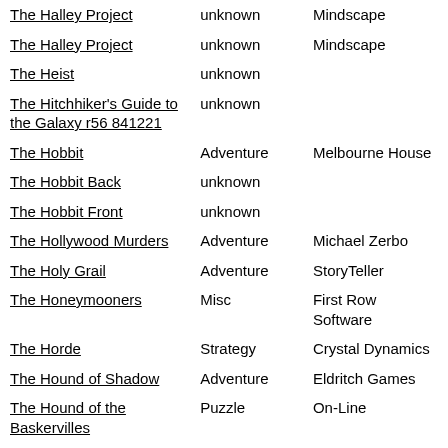| Title | Genre | Publisher |
| --- | --- | --- |
| The Halley Project | unknown | Mindscape |
| The Halley Project | unknown | Mindscape |
| The Heist | unknown |  |
| The Hitchhiker's Guide to the Galaxy r56 841221 | unknown |  |
| The Hobbit | Adventure | Melbourne House |
| The Hobbit Back | unknown |  |
| The Hobbit Front | unknown |  |
| The Hollywood Murders | Adventure | Michael Zerbo |
| The Holy Grail | Adventure | StoryTeller |
| The Honeymooners | Misc | First Row Software |
| The Horde | Strategy | Crystal Dynamics |
| The Hound of Shadow | Adventure | Eldritch Games |
| The Hound of the Baskervilles | Puzzle | On-Line |